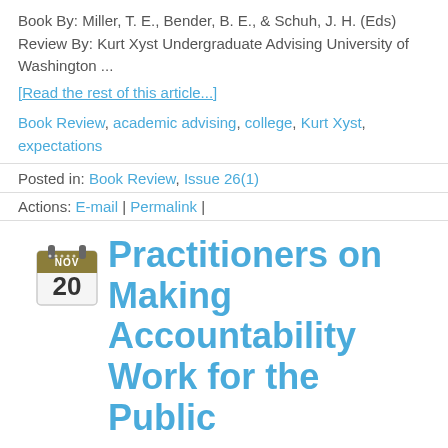Book By: Miller, T. E., Bender, B. E., & Schuh, J. H. (Eds)
Review By: Kurt Xyst Undergraduate Advising University of Washington ...
[Read the rest of this article...]
Book Review, academic advising, college, Kurt Xyst, expectations
Posted in: Book Review, Issue 26(1)
Actions: E-mail | Permalink |
Practitioners on Making Accountability Work for the Public
posted on November 20, 2012 15:55
Book by Nancy B. Shulock Review by Joey St. Germain Academic Advisor, College of Human Sciences The Florida